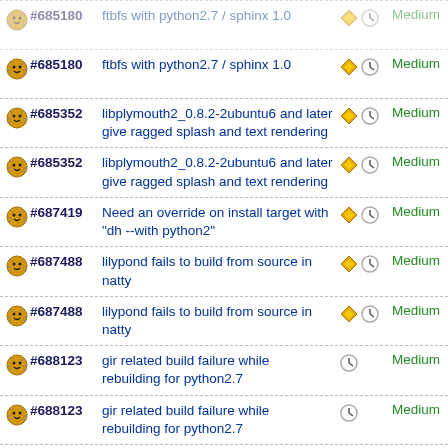#685180 ftbfs with python2.7 / sphinx 1.0 Medium
#685180 ftbfs with python2.7 / sphinx 1.0 Medium
#685180 ftbfs with python2.7 / sphinx 1.0 Medium
#685352 libplymouth2_0.8.2-2ubuntu6 and later give ragged splash and text rendering Medium
#685352 libplymouth2_0.8.2-2ubuntu6 and later give ragged splash and text rendering Medium
#687419 Need an override on install target with "dh --with python2" Medium
#687488 lilypond fails to build from source in natty Medium
#687488 lilypond fails to build from source in natty Medium
#688123 gir related build failure while rebuilding for python2.7 Medium
#688123 gir related build failure while rebuilding for python2.7 Medium
#690447 Support menubar in Firefox and Thunderbird Medium